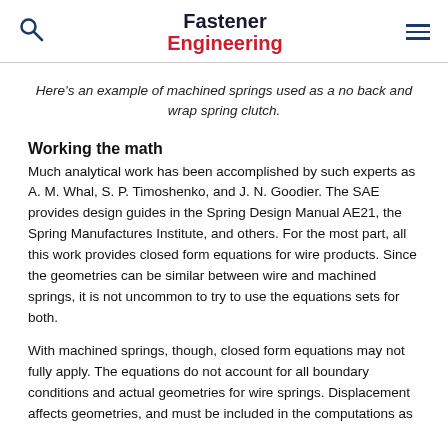Fastener Engineering
Here's an example of machined springs used as a no back and wrap spring clutch.
Working the math
Much analytical work has been accomplished by such experts as A. M. Whal, S. P. Timoshenko, and J. N. Goodier. The SAE provides design guides in the Spring Design Manual AE21, the Spring Manufactures Institute, and others. For the most part, all this work provides closed form equations for wire products. Since the geometries can be similar between wire and machined springs, it is not uncommon to try to use the equations sets for both.
With machined springs, though, closed form equations may not fully apply. The equations do not account for all boundary conditions and actual geometries for wire springs. Displacement affects geometries, and must be included in the computations as